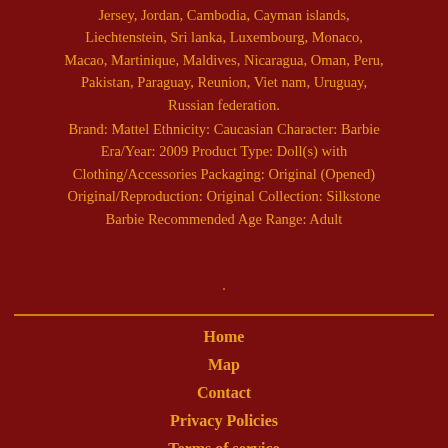Jersey, Jordan, Cambodia, Cayman islands, Liechtenstein, Sri lanka, Luxembourg, Monaco, Macao, Martinique, Maldives, Nicaragua, Oman, Peru, Pakistan, Paraguay, Reunion, Viet nam, Uruguay, Russian federation.
Brand: Mattel Ethnicity: Caucasian Character: Barbie Era/Year: 2009 Product Type: Doll(s) with Clothing/Accessories Packaging: Original (Opened) Original/Reproduction: Original Collection: Silkstone Barbie Recommended Age Range: Adult
.
Home
Map
Contact
Privacy Policies
Terms of service